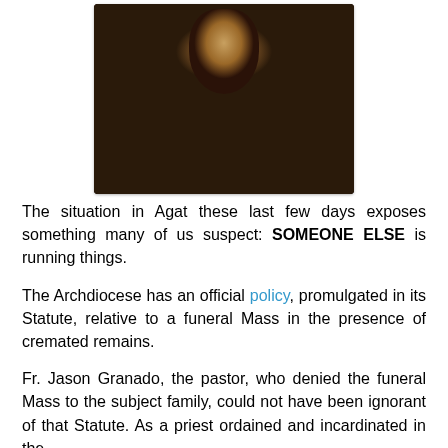[Figure (photo): Silhouette of a hooded figure against a dark background, with blonde hair visible above the hood. The figure appears mysterious, with hands raised.]
The situation in Agat these last few days exposes something many of us suspect: SOMEONE ELSE is running things.
The Archdiocese has an official policy, promulgated in its Statute, relative to a funeral Mass in the presence of cremated remains.
Fr. Jason Granado, the pastor, who denied the funeral Mass to the subject family, could not have been ignorant of that Statute. As a priest ordained and incardinated in the